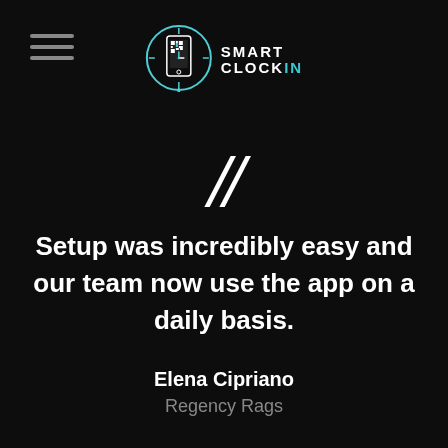SMART CLOCKIN
[Figure (illustration): Smart ClockIn logo — circular icon with a smartphone and QR code graphic, alongside text 'SMART CLOCKIN' with 'IN' in teal]
““
Setup was incredibly easy and our team now use the app on a daily basis.
Elena Cipriano
Regency Rags